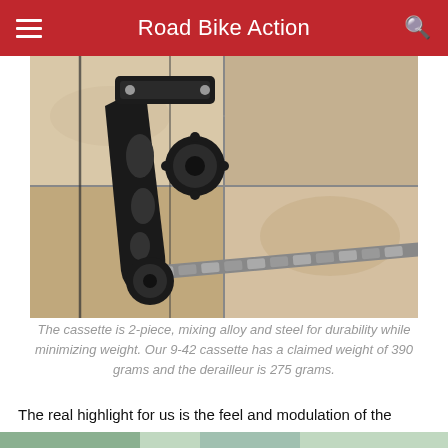Road Bike Action
[Figure (photo): Close-up photo of a bicycle rear derailleur with chain on a stone/tile background, showing a black carbon-look derailleur cage with pulley wheels and chain links.]
The cassette is 2-piece, mixing alloy and steel for durability while minimizing weight. Our 9-42 cassette has a claimed weight of 390 grams and the derailleur is 275 grams.
The real highlight for us is the feel and modulation of the hydraulic brakes. We've been mightily impressed with Campagnolo's hydro disc brakes  since the launch a few years ago, but in the dirt their quality and performance is only further amplified. With traction being  a constant battle in the dirt, the modulation of the Ekar brakes is in our opinion the best balance of power and feel.
[Figure (photo): Partial view of another bicycle component photo at the bottom of the page, cropped.]